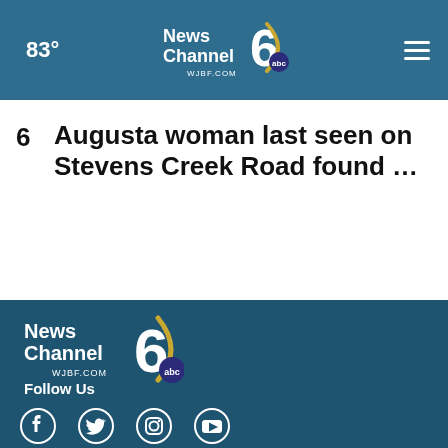83° NewsChannel 6 WJBF.COM abc
6  Augusta woman last seen on Stevens Creek Road found ...
[Figure (logo): NewsChannel 6 WJBF.COM abc logo in footer]
Follow Us
[Figure (infographic): Social media icons: Facebook, Twitter, Instagram, YouTube]